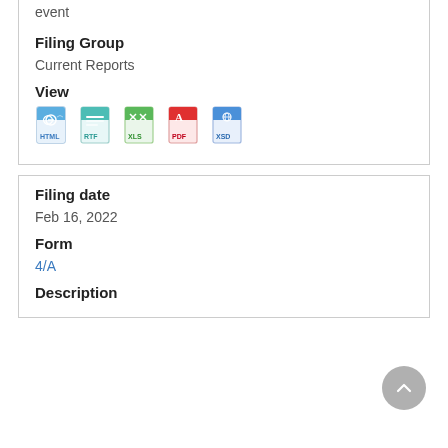event
Filing Group
Current Reports
View
[Figure (illustration): Row of five file format icons: HTML (blue), RTF (teal), XLS (green), PDF (red), XSD (blue/teal)]
Filing date
Feb 16, 2022
Form
4/A
Description